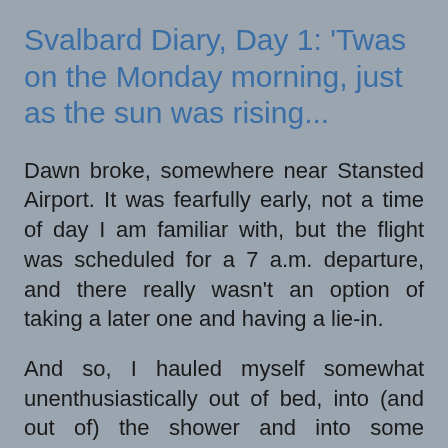Svalbard Diary, Day 1: 'Twas on the Monday morning, just as the sun was rising...
Dawn broke, somewhere near Stansted Airport. It was fearfully early, not a time of day I am familiar with, but the flight was scheduled for a 7 a.m. departure, and there really wasn't an option of taking a later one and having a lie-in.
And so, I hauled myself somewhat unenthusiastically out of bed, into (and out of) the shower and into some clothes. Thanks to Ros's enthusiasm for being early, we took a gentle stroll around the